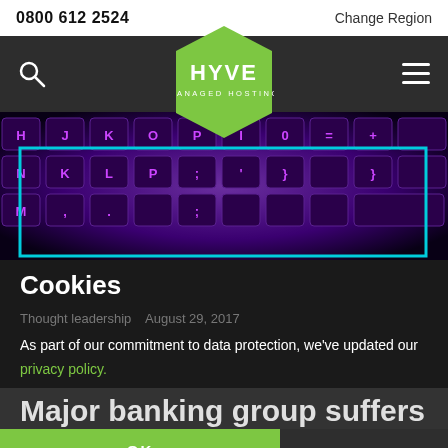0800 612 2524    Change Region
[Figure (logo): HYVE Managed Hosting hexagon logo in green]
[Figure (photo): Close-up of a keyboard with purple/blue backlit keys]
Cookies
Thought leadership    August 29, 2017
As part of our commitment to data protection, we've updated our privacy policy.
Major banking group suffers
OK
Quote    Live Chat